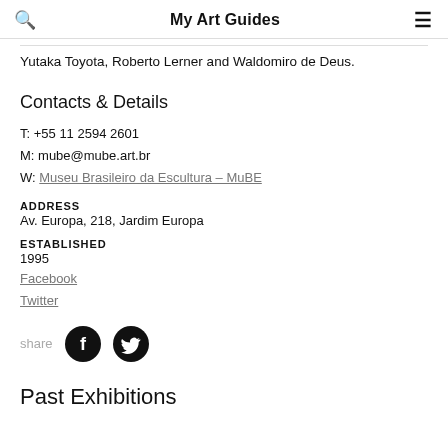My Art Guides
Yutaka Toyota, Roberto Lerner and Waldomiro de Deus.
Contacts & Details
T: +55 11 2594 2601
M: mube@mube.art.br
W: Museu Brasileiro da Escultura – MuBE
ADDRESS
Av. Europa, 218, Jardim Europa
ESTABLISHED
1995
Facebook
Twitter
[Figure (infographic): Share row with Facebook and Twitter circular icon buttons]
Past Exhibitions